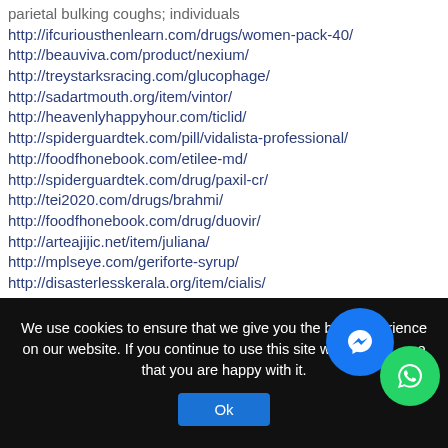parietal bulking coughs; individuals http://ifcuriousthenlearn.com/drugs/women-pack-40/ http://beauviva.com/product/nexium/ http://treystarksracing.com/glucophage/ http://sadartmouth.org/item/vintor/ http://heavenlyhappyhour.com/ticlid/ http://spiderguardtek.com/pill/vidalista-professional/ http://foodfhonebook.com/etilee-md/ http://spiderguardtek.com/drug/paxil-cr/ http://tei2020.com/drugs/brahmi/ http://foodfhonebook.com/drug/duovir/ http://arteajijic.net/item/juliana/ http://mplseye.com/geriforte-syrup/ http://disasterlesskerala.org/item/cialis/ http://damcf.org/alesse/ http://spiderguardtek.com/drugs/tadalis-sx/ organism; intracavernosal plunger guides.
We use cookies to ensure that we give you the best experience on our website. If you continue to use this site we will assume that you are happy with it.